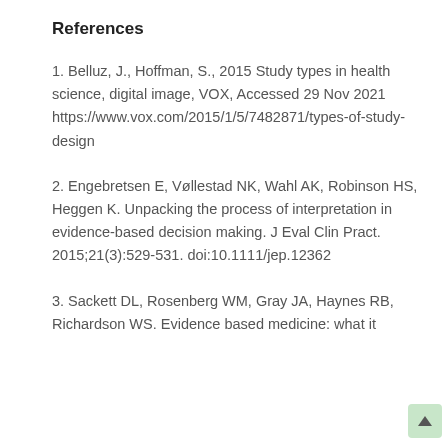References
1. Belluz, J., Hoffman, S., 2015 Study types in health science, digital image, VOX, Accessed 29 Nov 2021 https://www.vox.com/2015/1/5/7482871/types-of-study-design
2. Engebretsen E, Vøllestad NK, Wahl AK, Robinson HS, Heggen K. Unpacking the process of interpretation in evidence-based decision making. J Eval Clin Pract. 2015;21(3):529-531. doi:10.1111/jep.12362
3. Sackett DL, Rosenberg WM, Gray JA, Haynes RB, Richardson WS. Evidence based medicine: what it